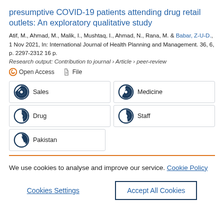presumptive COVID-19 patients attending drug retail outlets: An exploratory qualitative study
Atif, M., Ahmad, M., Malik, I., Mushtaq, I., Ahmad, N., Rana, M. & Babar, Z-U-D., 1 Nov 2021, In: International Journal of Health Planning and Management. 36, 6, p. 2297-2312 16 p.
Research output: Contribution to journal › Article › peer-review
Open Access   File
Sales
Medicine
Drug
Staff
Pakistan
We use cookies to analyse and improve our service. Cookie Policy
Cookies Settings
Accept All Cookies